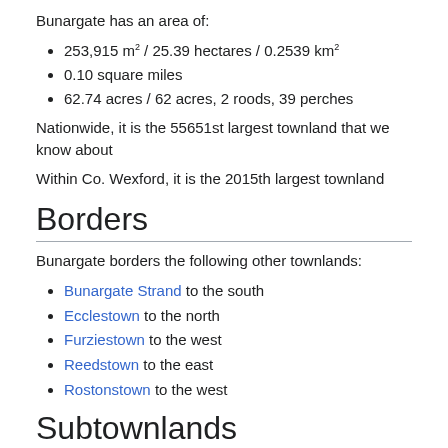Bunargate has an area of:
253,915 m² / 25.39 hectares / 0.2539 km²
0.10 square miles
62.74 acres / 62 acres, 2 roods, 39 perches
Nationwide, it is the 55651st largest townland that we know about
Within Co. Wexford, it is the 2015th largest townland
Borders
Bunargate borders the following other townlands:
Bunargate Strand to the south
Ecclestown to the north
Furziestown to the west
Reedstown to the east
Rostonstown to the west
Subtownlands
We don't know about any subtownlands in Bunargate.